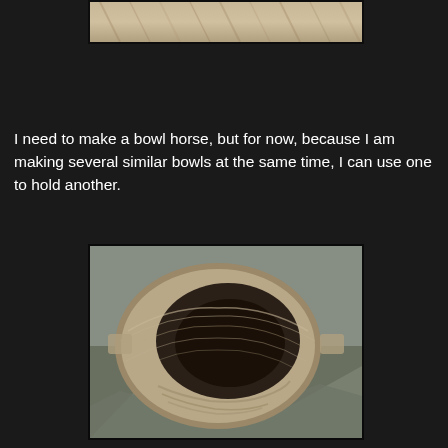[Figure (photo): Partial view of a wooden bowl being carved, showing the top of the bowl from above, with wood grain texture visible. Dark background.]
I need to make a bowl horse, but for now, because I am making several similar bowls at the same time, I can use one to hold another.
[Figure (photo): A partially carved wooden bowl resting on reflective foil/plastic sheeting. The bowl shows adze or gouge marks on the interior and exterior. The inside cavity is visible and dark. The bowl has a rough, hand-carved appearance with ridged tool marks.]